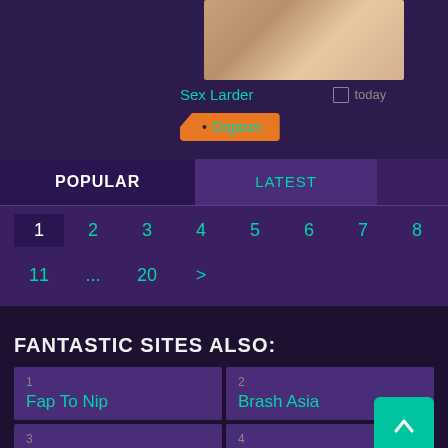[Figure (photo): Close-up photo of hands]
Sex Larder
today
Orgasm
POPULAR    LATEST
1  2  3  4  5  6  7  8  9  10
11  ...  20  >
FANTASTIC SITES ALSO:
1
Fap To Nip
2
Brash Asia
3
Asian MP4
4
Good-Fuck
5
6